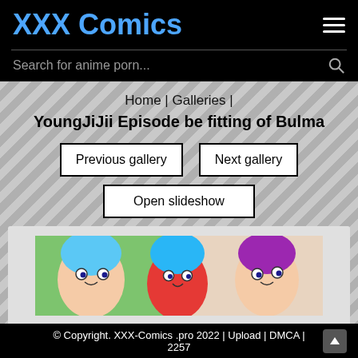XXX Comics
Search for anime porn...
Home | Galleries |
YoungJiJii Episode be fitting of Bulma
Previous gallery
Next gallery
Open slideshow
[Figure (illustration): Anime-style illustration showing multiple colorful cartoon characters with blue and purple hair in a crowded scene]
© Copyright. XXX-Comics .pro 2022 | Upload | DMCA | 2257